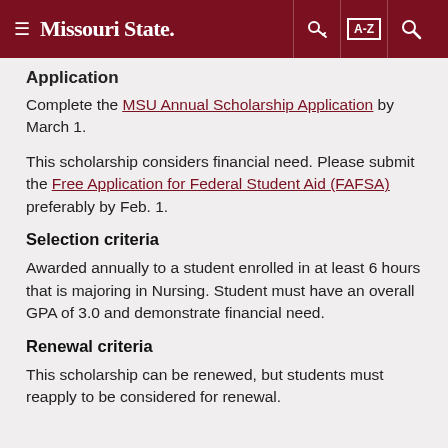Missouri State [navigation bar with hamburger, key icon, A-Z index, search]
Application
Complete the MSU Annual Scholarship Application by March 1.
This scholarship considers financial need. Please submit the Free Application for Federal Student Aid (FAFSA) preferably by Feb. 1.
Selection criteria
Awarded annually to a student enrolled in at least 6 hours that is majoring in Nursing. Student must have an overall GPA of 3.0 and demonstrate financial need.
Renewal criteria
This scholarship can be renewed, but students must reapply to be considered for renewal.